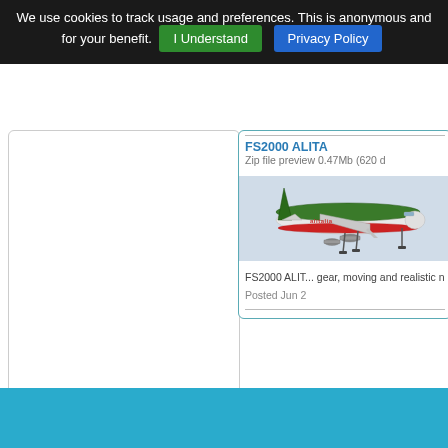We use cookies to track usage and preferences. This is anonymous and for your benefit. I Understand  Privacy Policy
[Figure (photo): Alitalia Airbus aircraft in flight with landing gear down, green livery with red stripe]
FS2000 ALITA
Zip file preview 0.47Mb (620 d
FS2000 ALIT... gear, moving and realistic n
Posted Jun 2